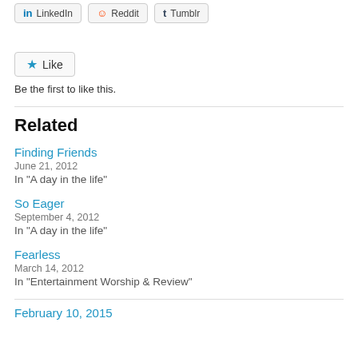[Figure (other): Social media share buttons for LinkedIn, Reddit, and Tumblr]
[Figure (other): Like button with star icon]
Be the first to like this.
Related
Finding Friends
June 21, 2012
In "A day in the life"
So Eager
September 4, 2012
In "A day in the life"
Fearless
March 14, 2012
In "Entertainment Worship & Review"
February 10, 2015